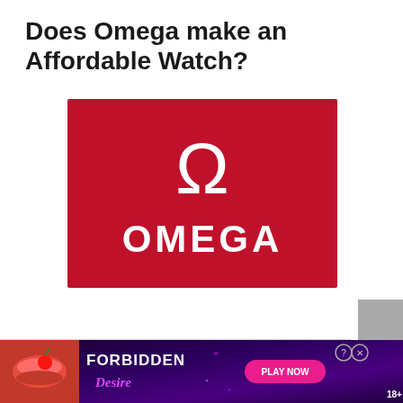Does Omega make an Affordable Watch?
[Figure (logo): Omega brand logo: white Omega symbol (Ω) and the word OMEGA in white capital letters on a red background]
[Figure (other): Advertisement banner for 'Forbidden Desire' with Play Now button, 18+ rating, and close/info icons]